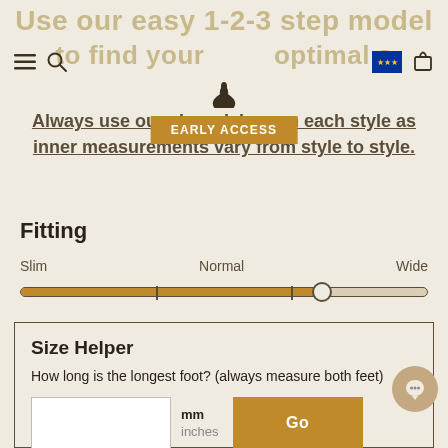Use our easy 1-2-3 step model to find your optimal shoe fit.
Always use our size advisor on each style as inner measurements vary from style to style.
Fitting
[Figure (other): A horizontal slider control with labels Slim, Normal, Wide. The slider is approximately 74% filled from the left in orange/gold, with a circular thumb at that position.]
Size Helper
How long is the longest foot? (always measure both feet)